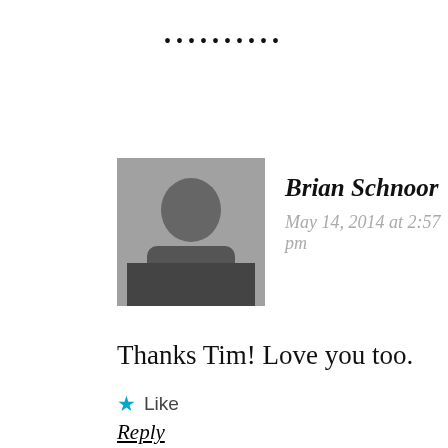••••••••••
Brian Schnoor
May 14, 2014 at 2:57 pm
Thanks Tim! Love you too.
★ Like
Reply
•••••••••
Jim Rohrlack